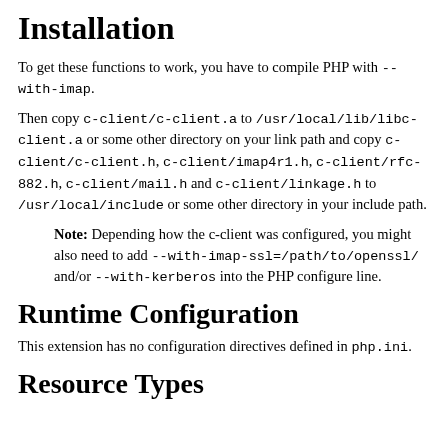Installation
To get these functions to work, you have to compile PHP with --with-imap.
Then copy c-client/c-client.a to /usr/local/lib/libc-client.a or some other directory on your link path and copy c-client/c-client.h, c-client/imap4r1.h, c-client/rfc-882.h, c-client/mail.h and c-client/linkage.h to /usr/local/include or some other directory in your include path.
Note: Depending how the c-client was configured, you might also need to add --with-imap-ssl=/path/to/openssl/ and/or --with-kerberos into the PHP configure line.
Runtime Configuration
This extension has no configuration directives defined in php.ini.
Resource Types